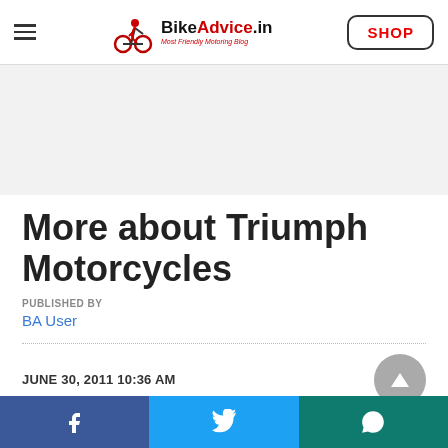BikeAdvice.in — Most Friendly Motoring Blog | SHOP
More about Triumph Motorcycles
PUBLISHED BY
BA User
JUNE 30, 2011 10:36 AM